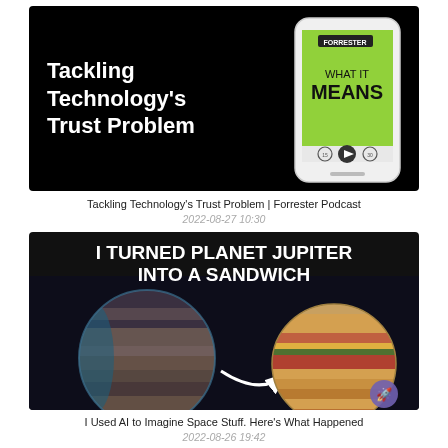[Figure (screenshot): Forrester 'What It Means' podcast episode card on black background showing podcast player UI with green album art, play button, and episode title 'Tackling Technology's Trust Problem']
Tackling Technology's Trust Problem | Forrester Podcast
2022-08-27 10:30
[Figure (screenshot): YouTube thumbnail on dark background: 'I TURNED PLANET JUPITER INTO A SANDWICH' with AI-generated images of Jupiter planet and sandwich-shaped planet side by side with arrow between them]
I Used AI to Imagine Space Stuff. Here's What Happened
2022-08-26 19:42